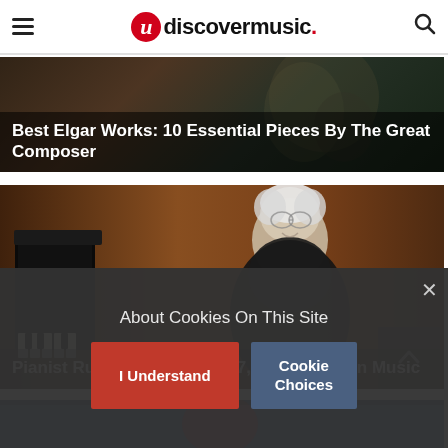udiscovermusic.
Best Elgar Works: 10 Essential Pieces By The Great Composer
[Figure (photo): Pianist Ruth Slenczynska, elderly woman with white hair and glasses, seated at a piano against a warm wooden background]
Pianist Ruth Slenczynska, 97, On Her Life In Music
[Figure (photo): Partial view of a third article card, partially obscured by cookie consent overlay]
About Cookies On This Site
I Understand
Cookie Choices